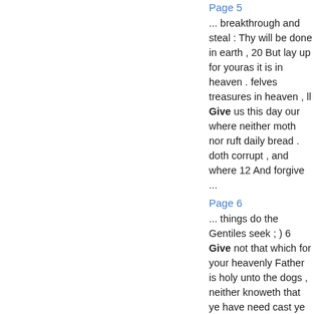Page 5
... breakthrough and steal : Thy will be done in earth , 20 But lay up for youras it is in heaven . felves treasures in heaven , ll Give us this day our where neither moth nor ruft daily bread . doth corrupt , and where 12 And forgive ...
Page 6
... things do the Gentiles seek ; ) 6 Give not that which for your heavenly Father is holy unto the dogs , neither knoweth that ye have need cast ye your pearls before of all these things . swine ; left they trample them 33 But seek ye ...
Page 7